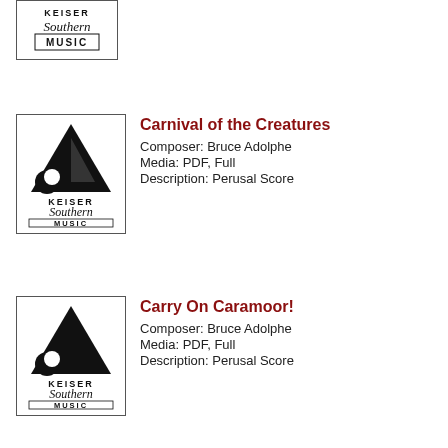[Figure (logo): Keiser Southern Music logo in a bordered box, partially visible at top]
[Figure (logo): Keiser Southern Music logo in a bordered box]
Carnival of the Creatures
Composer: Bruce Adolphe
Media: PDF, Full
Description: Perusal Score
[Figure (logo): Keiser Southern Music logo in a bordered box]
Carry On Caramoor!
Composer: Bruce Adolphe
Media: PDF, Full
Description: Perusal Score